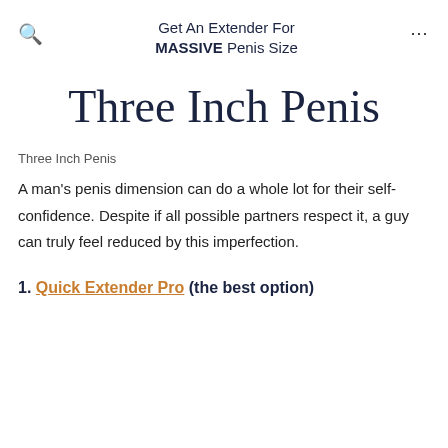Get An Extender For MASSIVE Penis Size
Three Inch Penis
Three Inch Penis
A man's penis dimension can do a whole lot for their self-confidence. Despite if all possible partners respect it, a guy can truly feel reduced by this imperfection.
1. Quick Extender Pro (the best option)